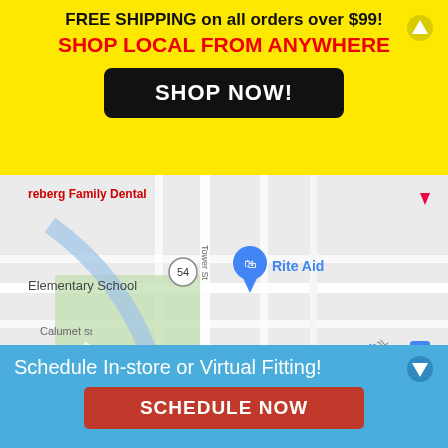FREE SHIPPING on all orders over $99!
SHOP LOCAL FROM ANYWHERE
SHOP NOW!
[Figure (map): Google Maps screenshot showing Flint area with Rite Aid, reberg Family Dental, Consumers Energy, Elementary School, Calumet St, Tower St, Flint transit stop, Nuevo Vallarta restaurant, and Knaphe visible.]
Schedule In-store or Virtual Fitting!
SCHEDULE NOW